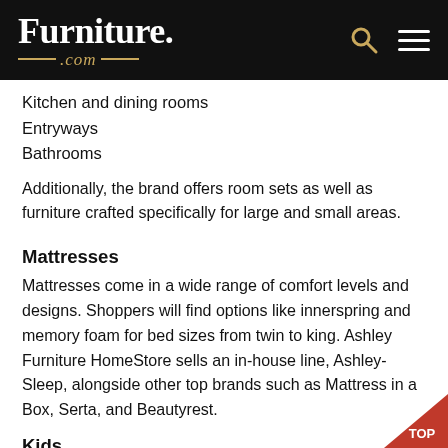Furniture.com
Kitchen and dining rooms
Entryways
Bathrooms
Additionally, the brand offers room sets as well as furniture crafted specifically for large and small areas.
Mattresses
Mattresses come in a wide range of comfort levels and designs. Shoppers will find options like innerspring and memory foam for bed sizes from twin to king. Ashley Furniture HomeStore sells an in-house line, Ashley-Sleep, alongside other top brands such as Mattress in a Box, Serta, and Beautyrest.
Kids
Ashley Furniture HomeStore makes it easy to furnish rooms for kids, too. Customers can select beds, dressers